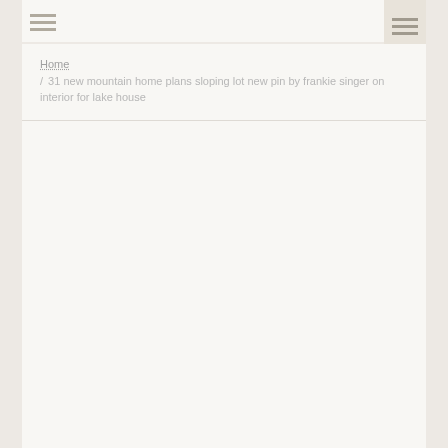Home / 31 new mountain home plans sloping lot new pin by frankie singer on interior for lake house
[Figure (other): Mostly blank white content area below the breadcrumb navigation]